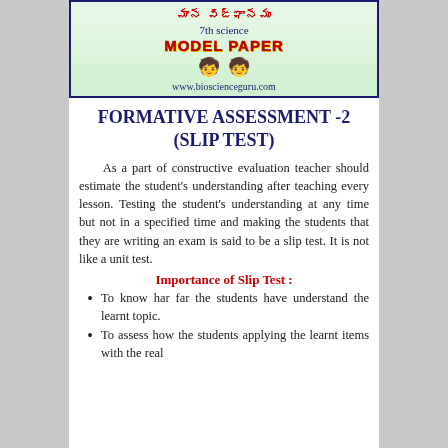[Figure (illustration): Banner with Telugu text, '7th science MODEL PAPER' heading, cartoon children, and website www.bioscienceguru.com on a light green background with dark blue border]
FORMATIVE ASSESSMENT -2 (SLIP TEST)
As a part of constructive evaluation teacher should estimate the student's understanding after teaching every lesson. Testing the student's understanding at any time but not in a specified time and making the students that they are writing an exam is said to be a slip test. It is not like a unit test.
Importance of Slip Test :
To know har far the students have understand the learnt topic.
To assess how the students applying the learnt items with the real